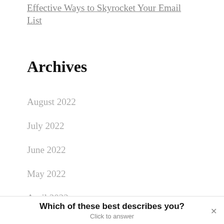Effective Ways to Skyrocket Your Email List
Archives
August 2022
July 2022
June 2022
May 2022
April 2022
Which of these best describes you?
Click to answer